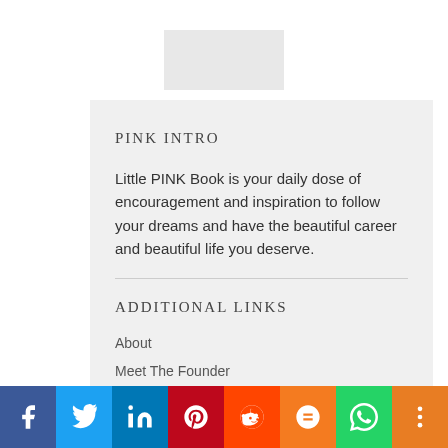[Figure (other): Light gray rectangular image placeholder at the top center of the page]
PINK INTRO
Little PINK Book is your daily dose of encouragement and inspiration to follow your dreams and have the beautiful career and beautiful life you deserve.
ADDITIONAL LINKS
About
Meet The Founder
The Team
[Figure (other): Social media sharing bar with icons for Facebook, Twitter, LinkedIn, Pinterest, Reddit, Mix, WhatsApp, and More]